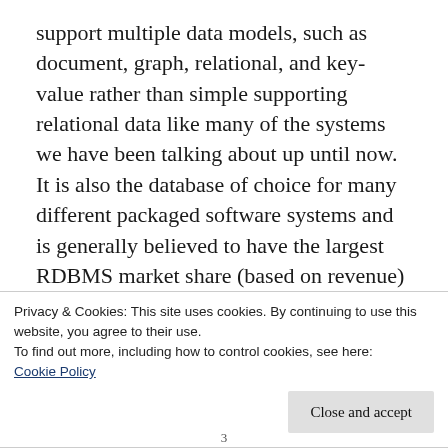support multiple data models, such as document, graph, relational, and key-value rather than simple supporting relational data like many of the systems we have been talking about up until now. It is also the database of choice for many different packaged software systems and is generally believed to have the largest RDBMS market share (based on revenue) – which means that it would not be surprising to be a .NET developer and yet be working with Oracle. And Amazon RDS makes
Privacy & Cookies: This site uses cookies. By continuing to use this website, you agree to their use.
To find out more, including how to control cookies, see here: Cookie Policy
3